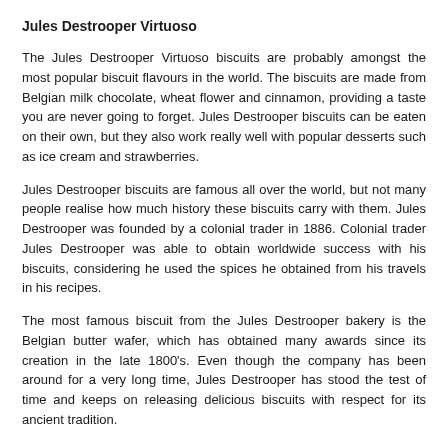Jules Destrooper Virtuoso
The Jules Destrooper Virtuoso biscuits are probably amongst the most popular biscuit flavours in the world. The biscuits are made from Belgian milk chocolate, wheat flower and cinnamon, providing a taste you are never going to forget. Jules Destrooper biscuits can be eaten on their own, but they also work really well with popular desserts such as ice cream and strawberries.
Jules Destrooper biscuits are famous all over the world, but not many people realise how much history these biscuits carry with them. Jules Destrooper was founded by a colonial trader in 1886. Colonial trader Jules Destrooper was able to obtain worldwide success with his biscuits, considering he used the spices he obtained from his travels in his recipes.
The most famous biscuit from the Jules Destrooper bakery is the Belgian butter wafer, which has obtained many awards since its creation in the late 1800's. Even though the company has been around for a very long time, Jules Destrooper has stood the test of time and keeps on releasing delicious biscuits with respect for its ancient tradition.
Customers who want to try some Jules Destrooper biscuits can choose to Little Luxury hamper, the Sweet & White Hamper or the al Foodies Hamper. These hampers also contain additional eats, so you will not be disappointed no matter which hamper you go for.